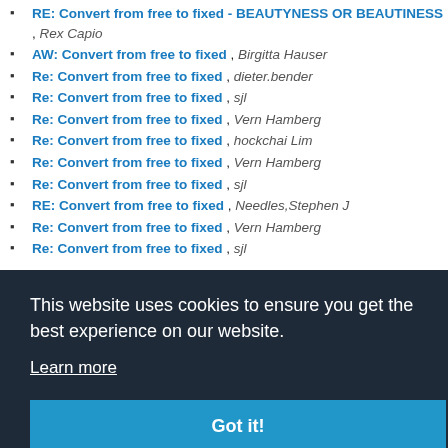RE: Convert from free to fixed - BEAUTYNESS OR BEAUTINESS , Rex Capio
AW: Convert from free to fixed , Birgitta Hauser
Re: Convert from free to fixed , dieter.bender
Re: Convert from free to fixed , sjl
Re: Convert from free to fixed , Vern Hamberg
Re: Convert from free to fixed , hockchai Lim
Re: Convert from free to fixed , Vern Hamberg
Re: Convert from free to fixed , sjl
RE: Convert from free to fixed , Needles,Stephen J
Re: Convert from free to fixed , Vern Hamberg
Re: Convert from free to fixed , sjl
This website uses cookies to ensure you get the best experience on our website.
Learn more
Got it!
Re: Convert from free to fixed , sjl